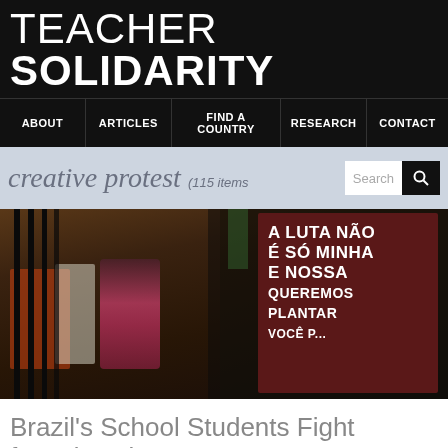TEACHER SOLIDARITY
ABOUT | ARTICLES | FIND A COUNTRY | RESEARCH | CONTACT
creative protest (115 items)
[Figure (photo): Photograph of students sitting inside a school building with an iron gate in the foreground. A large protest sign reads 'A LUTA NÃO É SÓ MINHA E NOSSA queremos plantar você p...']
Brazil's School Students Fight for Education